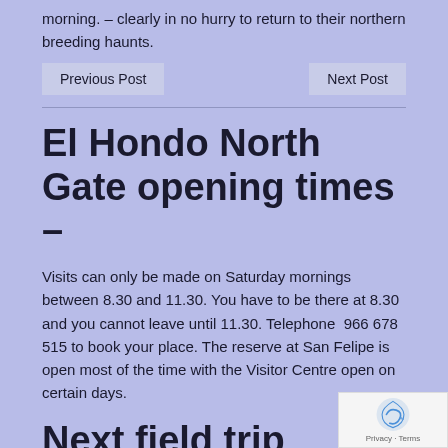morning. – clearly in no hurry to return to their northern breeding haunts.
Previous Post
Next Post
El Hondo North Gate opening times –
Visits can only be made on Saturday mornings between 8.30 and 11.30. You have to be there at 8.30 and you cannot leave until 11.30. Telephone  966 678 515 to book your place. The reserve at San Felipe is open most of the time with the Visitor Centre open on certain days.
Next field trip
There will be no more trips until September.